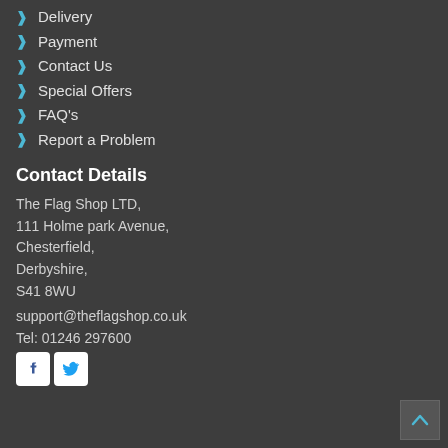Delivery
Payment
Contact Us
Special Offers
FAQ's
Report a Problem
Contact Details
The Flag Shop LTD,
111 Holme park Avenue,
Chesterfield,
Derbyshire,
S41 8WU
support@theflagshop.co.uk
Tel: 01246 297600
[Figure (other): Facebook and Twitter social media icons]